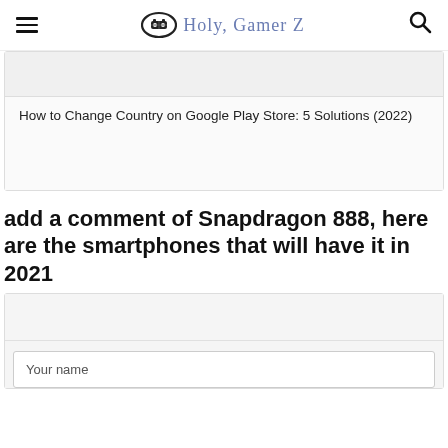Holy Gamer Z
How to Change Country on Google Play Store: 5 Solutions (2022)
add a comment of Snapdragon 888, here are the smartphones that will have it in 2021
Your name